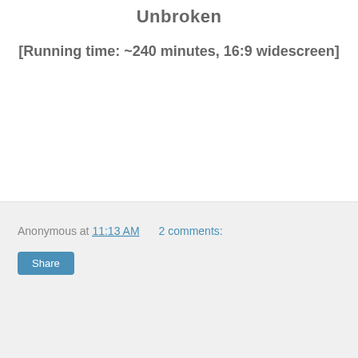Unbroken
[Running time: ~240 minutes, 16:9 widescreen]
Anonymous at 11:13 AM   2 comments: